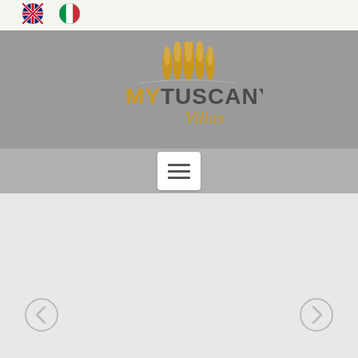[Figure (logo): UK flag icon (circular)]
[Figure (logo): Italian flag icon (circular)]
[Figure (logo): MyTuscany Villas logo on grey background with golden cypress tree icons and stylized text]
[Figure (other): Hamburger menu button (three horizontal lines) in white rounded rectangle on grey navigation bar]
[Figure (other): Left navigation arrow (back) in circular outline button]
[Figure (other): Right navigation arrow (forward) in circular outline button]